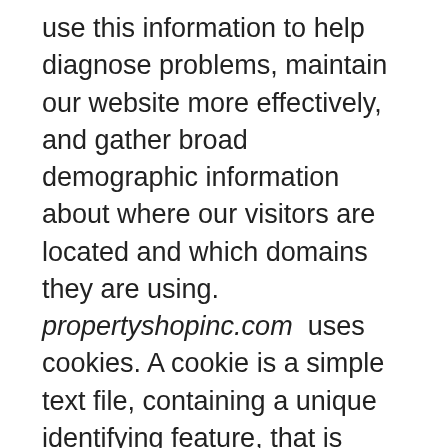use this information to help diagnose problems, maintain our website more effectively, and gather broad demographic information about where our visitors are located and which domains they are using. propertyshopinc.com uses cookies. A cookie is a simple text file, containing a unique identifying feature, that is stored on a user's web browser. Cookies store useful information to help improve your user experience, like settings, remembering items in a shopping cart, or remaining logged in to your account. Cookies created on your computer by using our site do not contain personally identifiable information and do not compromise your privacy or security. You can set your web